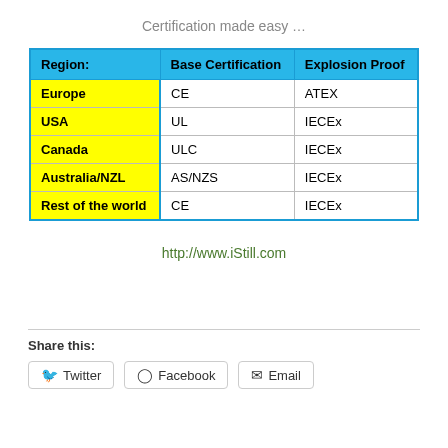Certification made easy …
| Region: | Base Certification | Explosion Proof |
| --- | --- | --- |
| Europe | CE | ATEX |
| USA | UL | IECEx |
| Canada | ULC | IECEx |
| Australia/NZL | AS/NZS | IECEx |
| Rest of the world | CE | IECEx |
http://www.iStill.com
Share this:
Twitter
Facebook
Email